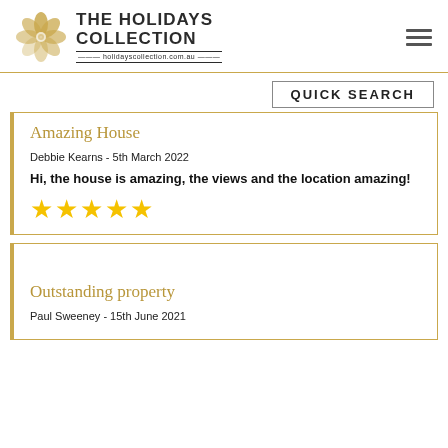[Figure (logo): The Holidays Collection logo with flower motif and website holidayscollection.com.au]
QUICK SEARCH
Amazing House
Debbie Kearns - 5th March 2022
Hi, the house is amazing, the views and the location amazing!
[Figure (illustration): 5 gold star rating]
Outstanding property
Paul Sweeney - 15th June 2021